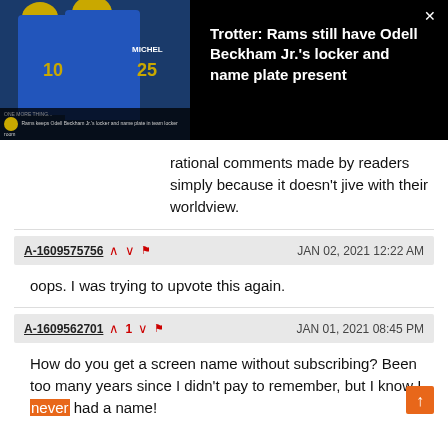[Figure (screenshot): Video thumbnail showing two LA Rams football players in blue and gold jerseys, with a ticker at the bottom. Title reads: Trotter: Rams still have Odell Beckham Jr.'s locker and name plate present]
rational comments made by readers simply because it doesn't jive with their worldview.
A-1609575756  ∧  ∨  ⚑   JAN 02, 2021 12:22 AM
oops. I was trying to upvote this again.
A-1609562701  ∧1  ∨  ⚑   JAN 01, 2021 08:45 PM
How do you get a screen name without subscribing? Been too many years since I didn't pay to remember, but I know I never had a name!